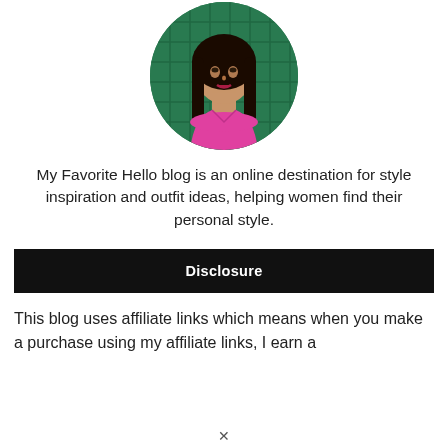[Figure (photo): Circular cropped portrait photo of a woman with long dark hair wearing a pink top, with a green chain-link fence background]
My Favorite Hello blog is an online destination for style inspiration and outfit ideas, helping women find their personal style.
Disclosure
This blog uses affiliate links which means when you make a purchase using my affiliate links, I earn a